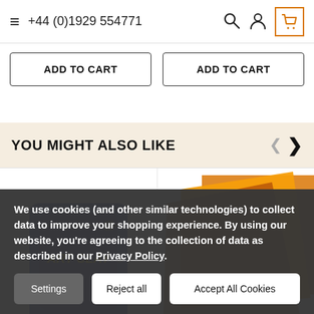≡  +44 (0)1929 554771
ADD TO CART  |  ADD TO CART
YOU MIGHT ALSO LIKE
[Figure (photo): Two product images: left shows a blue Art Clay branded case/pouch; right shows overlapping golden/orange transparent sheets]
We use cookies (and other similar technologies) to collect data to improve your shopping experience. By using our website, you're agreeing to the collection of data as described in our Privacy Policy.
Settings  Reject all  Accept All Cookies